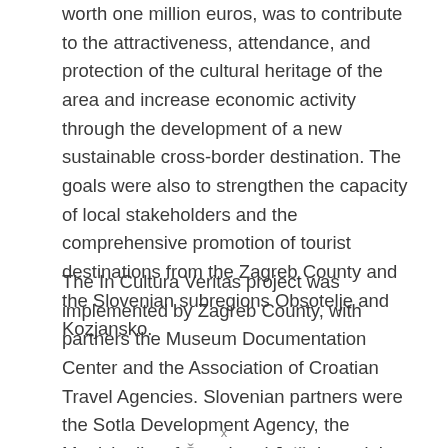worth one million euros, was to contribute to the attractiveness, attendance, and protection of the cultural heritage of the area and increase economic activity through the development of a new sustainable cross-border destination. The goals were also to strengthen the capacity of local stakeholders and the comprehensive promotion of tourist destinations from the Zagreb County and the Slovenian subregions Obsotelje and Kozjansko.
The In Cultura Veritas project was implemented by Zagreb County, with partners the Museum Documentation Center and the Association of Croatian Travel Agencies. Slovenian partners were the Sotla Development Agency, the Municipality of Šmarje pri Jelšah, and the …
x